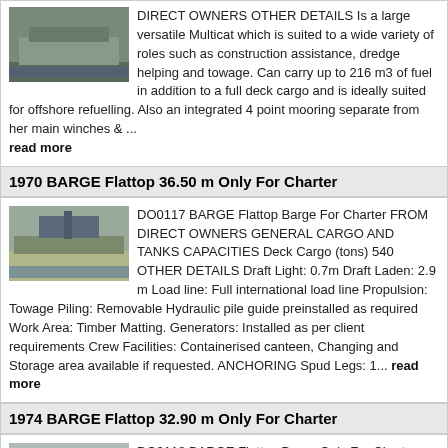DIRECT OWNERS OTHER DETAILS Is a large versatile Multicat which is suited to a wide variety of roles such as construction assistance, dredge helping and towage. Can carry up to 216 m3 of fuel in addition to a full deck cargo and is ideally suited for offshore refuelling. Also an integrated 4 point mooring separate from her main winches & ... read more
1970 BARGE Flattop 36.50 m Only For Charter
DO0117 BARGE Flattop Barge For Charter FROM DIRECT OWNERS GENERAL CARGO AND TANKS CAPACITIES Deck Cargo (tons) 540 OTHER DETAILS Draft Light: 0.7m Draft Laden: 2.9 m Load line: Full international load line Propulsion: Towage Piling: Removable Hydraulic pile guide preinstalled as required Work Area: Timber Matting. Generators: Installed as per client requirements Crew Facilities: Containerised canteen, Changing and Storage area available if requested. ANCHORING Spud Legs: 1... read more
1974 BARGE Flattop 32.90 m Only For Charter
DO0118 BARGE Flattop Barge Only For Charter FROM DIRECT OWNERS GENERAL CARGO AND TANKS CAPACITIES Deck Cargo (tons) 500 OTHER DETAILS Committed until May 2019 Rebuilt 2010/2011 Draft Laden 2.98m Spud Legs: 3 x 28m (Longer can be